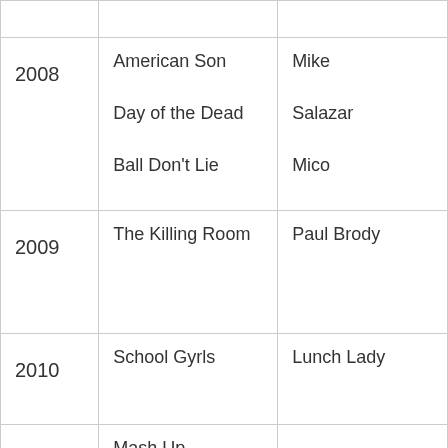| Year | Title | Role |
| --- | --- | --- |
| 2008 | American Son
Day of the Dead
Ball Don't Lie | Mike
Salazar
Mico |
| 2009 | The Killing Room | Paul Brody |
| 2010 | School Gyrls | Lunch Lady |
| 2011 | Mash Up |  |
| 2014 | Drumline: A New Beat | Devon Miles
Super |